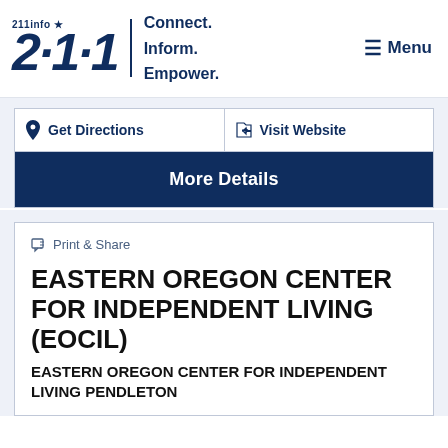[Figure (logo): 211info logo with star and tagline Connect. Inform. Empower.]
Menu
Get Directions
Visit Website
More Details
Print & Share
EASTERN OREGON CENTER FOR INDEPENDENT LIVING (EOCIL)
EASTERN OREGON CENTER FOR INDEPENDENT LIVING PENDLETON